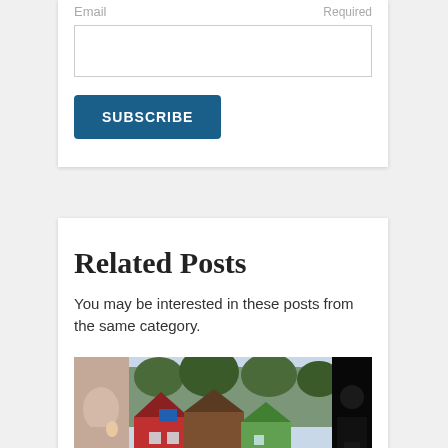Email
Required
SUBSCRIBE
Related Posts
You may be interested in these posts from the same category.
[Figure (photo): Three images side by side: left is a partial close-up of a person's face/ear, center is colorful houses with trees, right is a dark night scene.]